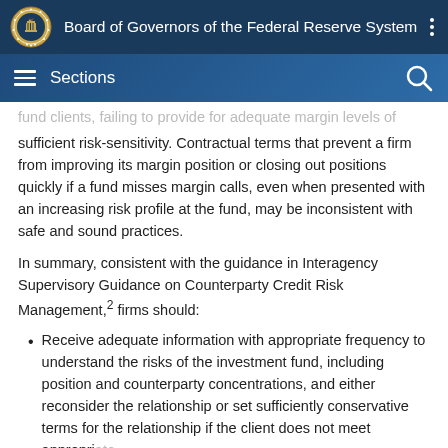Board of Governors of the Federal Reserve System
Sections
fund clients, failing to provide for adequate margin levels of sufficient risk-sensitivity. Contractual terms that prevent a firm from improving its margin position or closing out positions quickly if a fund misses margin calls, even when presented with an increasing risk profile at the fund, may be inconsistent with safe and sound practices.
In summary, consistent with the guidance in Interagency Supervisory Guidance on Counterparty Credit Risk Management,² firms should:
Receive adequate information with appropriate frequency to understand the risks of the investment fund, including position and counterparty concentrations, and either reconsider the relationship or set sufficiently conservative terms for the relationship if the client does not meet appropriate